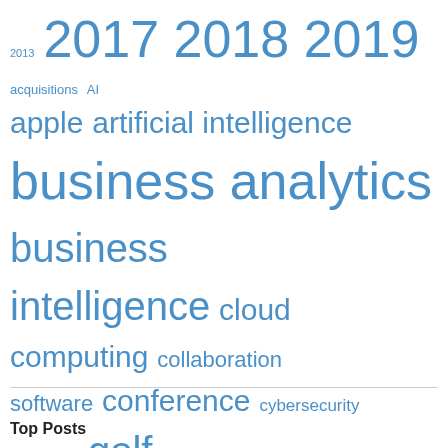[Figure (other): Tag cloud with terms in various sizes in blue: 2013, 2017, 2018, 2019, acquisitions, AI, apple, artificial intelligence, business analytics, business intelligence, cloud computing, collaboration software, conference, cybersecurity, facebook, golf, google, ibm, ibm software, lotus, market research, mobile internet, mobile marketplace, smarter cities, smarter commerce, smarter planet, social business, social media, sports, Uncategorized]
Top Posts